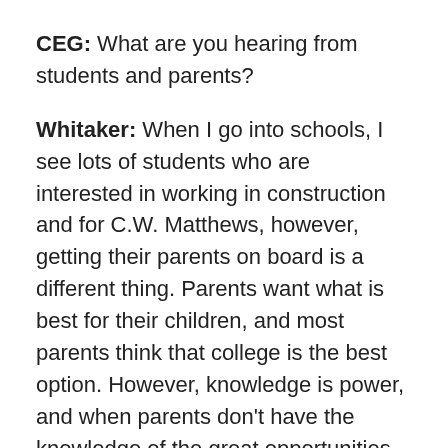CEG: What are you hearing from students and parents?
Whitaker: When I go into schools, I see lots of students who are interested in working in construction and for C.W. Matthews, however, getting their parents on board is a different thing. Parents want what is best for their children, and most parents think that college is the best option. However, knowledge is power, and when parents don't have the knowledge of the great opportunities for their children in construction, they don't have the power to make the best decision for them. So as much as I can, I try to meet with parents to tell them of the paths to success and advancement in our industry so we can change the narrative that college is not the only option after high school. When I tell parents how much